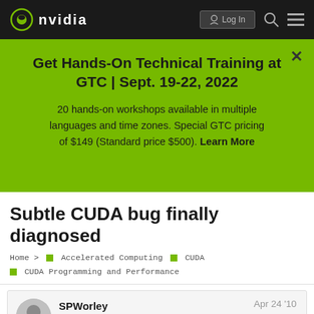NVIDIA
Get Hands-On Technical Training at GTC | Sept. 19-22, 2022
20 hands-on workshops available in multiple languages and time zones. Special GTC pricing of $149 (Standard price $500). Learn More
Subtle CUDA bug finally diagnosed
Home > Accelerated Computing > CUDA > CUDA Programming and Performance
SPWorley — Apr 24 '10 — 1/8